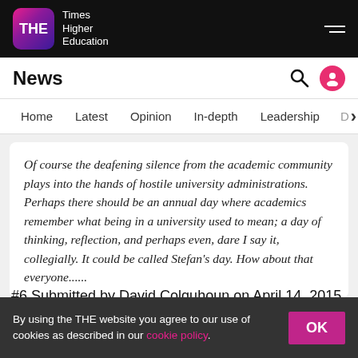THE Times Higher Education
News
Home | Latest | Opinion | In-depth | Leadership | D >
Of course the deafening silence from the academic community plays into the hands of hostile university administrations. Perhaps there should be an annual day where academics remember what being in a university used to mean; a day of thinking, reflection, and perhaps even, dare I say it, collegially. It could be called Stefan's day. How about that everyone......
#6 Submitted by David Colquhoun on April 14, 2015 - 12:12am
By using the THE website you agree to our use of cookies as described in our cookie policy.